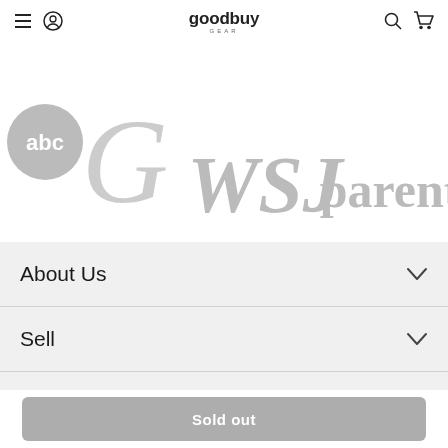goodbuy GEAR navigation header with menu, account, search and cart icons
[Figure (logo): Media logos: ABC News, Good Morning America (cursive G), WSJ (Wall Street Journal), Parents magazine - all shown in grey]
About Us
Sell
Shop
Sold out